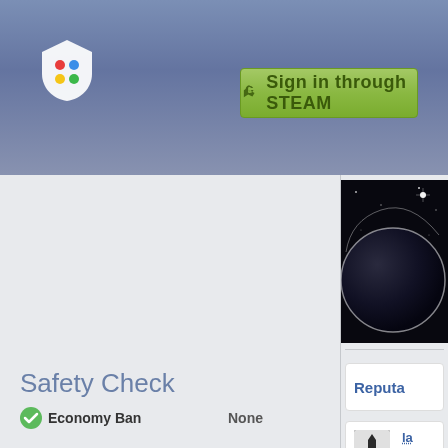[Figure (logo): Shield/game controller logo with colored dots in white shield shape]
[Figure (other): Green 'Sign in through STEAM' button with Steam key icon]
[Figure (photo): Dark planet/space profile avatar image in sidebar]
Reputa
la
+r
re
1 y
Safety Check
Economy Ban   None